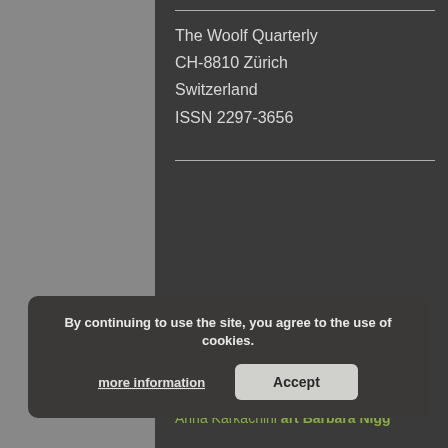The Woolf Quarterly
CH-8810 Zürich
Switzerland
ISSN 2297-3656
Tags
Anna Karkachinı art Barbara Nigg
By continuing to use the site, you agree to the use of cookies.
more information
Accept